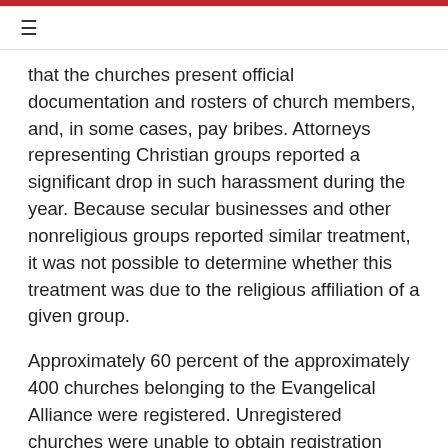≡
that the churches present official documentation and rosters of church members, and, in some cases, pay bribes. Attorneys representing Christian groups reported a significant drop in such harassment during the year. Because secular businesses and other nonreligious groups reported similar treatment, it was not possible to determine whether this treatment was due to the religious affiliation of a given group.
Approximately 60 percent of the approximately 400 churches belonging to the Evangelical Alliance were registered. Unregistered churches were unable to obtain registration from local authorities. The Evangelical Alliance and lawyers representing Christian groups reported that most unregistered churches were in rural areas. According to Christian leaders, this was due to a combination of